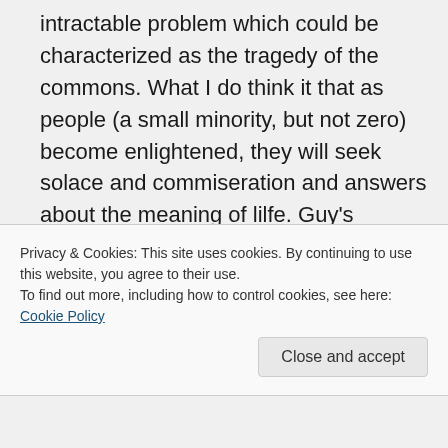intractable problem which could be characterized as the tragedy of the commons. What I do think it that as people (a small minority, but not zero) become enlightened, they will seek solace and commiseration and answers about the meaning of lilfe. Guy's website and the FB page (and there are others) and my blog are sanctuaries for refuge for the awakened.
Privacy & Cookies: This site uses cookies. By continuing to use this website, you agree to their use.
To find out more, including how to control cookies, see here: Cookie Policy